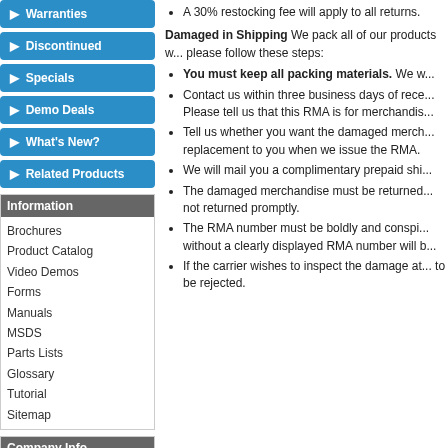Warranties
Discontinued
Specials
Demo Deals
What's New?
Related Products
Information
Brochures
Product Catalog
Video Demos
Forms
Manuals
MSDS
Parts Lists
Glossary
Tutorial
Sitemap
Company Info
A 30% restocking fee will apply to all returns.
Damaged in Shipping We pack all of our products w... please follow these steps:
You must keep all packing materials. We w...
Contact us within three business days of rece... Please tell us that this RMA is for merchandis...
Tell us whether you want the damaged merch... replacement to you when we issue the RMA.
We will mail you a complimentary prepaid shi...
The damaged merchandise must be returned... not returned promptly.
The RMA number must be boldly and conspi... without a clearly displayed RMA number will b...
If the carrier wishes to inspect the damage at... to be rejected.